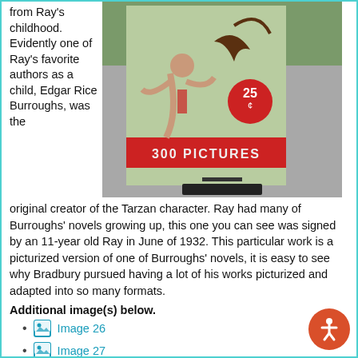from Ray's childhood. Evidently one of Ray's favorite authors as a child, Edgar Rice Burroughs, was the
[Figure (photo): Photo of a vintage book cover showing Tarzan character with '300 PICTURES' red banner and 25 cent price, displayed on a stand outdoors on a gravel surface]
original creator of the Tarzan character. Ray had many of Burroughs' novels growing up, this one you can see was signed by an 11-year old Ray in June of 1932. This particular work is a picturized version of one of Burroughs' novels, it is easy to see why Bradbury pursued having a lot of his works picturized and adapted into so many formats.
Additional image(s) below.
Image 26
Image 27